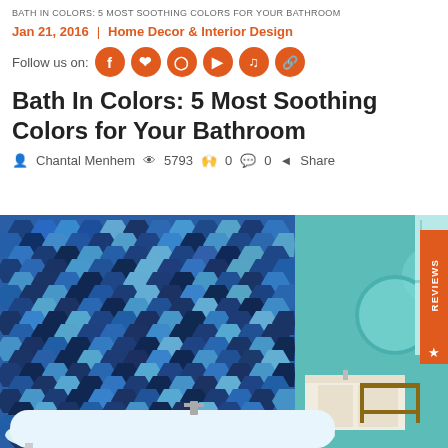BATH IN COLORS: 5 MOST SOOTHING COLORS FOR YOUR BATHROOM
Jan 21, 2016  |  Home Decor & Interior Design
Follow us on: [social icons: Facebook, Pinterest, Instagram, YouTube, TikTok, Link]
Bath In Colors: 5 Most Soothing Colors for Your Bathroom
Chantal Menhem   5793   0   0   Share
[Figure (photo): Bathroom interior with blue hexagonal mosaic tile wall, white freestanding bathtub, round mirrors, white vanity, wooden chair, and teal painted walls with a window]